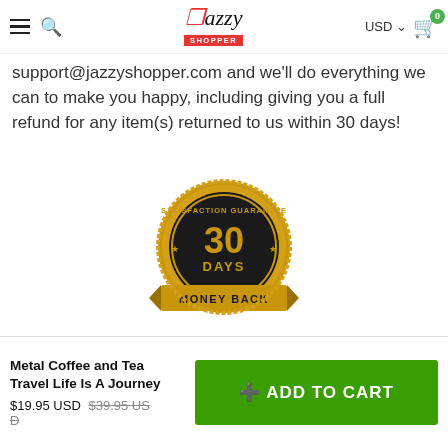Jazzy Shopper — USD — Cart (0)
support@jazzyshopper.com and we'll do everything we can to make you happy, including giving you a full refund for any item(s) returned to us within 30 days!
[Figure (illustration): Gold circular seal badge reading '30 DAYS MONEY BACK GUARANTEE']
Delivery and Returns
Metal Coffee and Tea Travel Life Is A Journey
$19.95 USD $39.95 USD
ADD TO CART